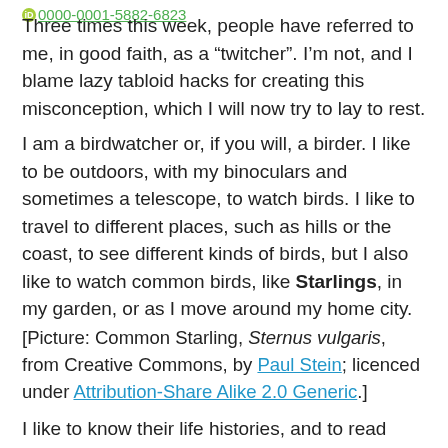0000-0001-5882-6823
Three times this week, people have referred to me, in good faith, as a “twitcher”. I’m not, and I blame lazy tabloid hacks for creating this misconception, which I will now try to lay to rest.
I am a birdwatcher or, if you will, a birder. I like to be outdoors, with my binoculars and sometimes a telescope, to watch birds. I like to travel to different places, such as hills or the coast, to see different kinds of birds, but I also like to watch common birds, like Starlings, in my garden, or as I move around my home city.
[Picture: Common Starling, Sternus vulgaris, from Creative Commons, by Paul Stein; licenced under Attribution-Share Alike 2.0 Generic.]
I like to know their life histories, and to read about and study